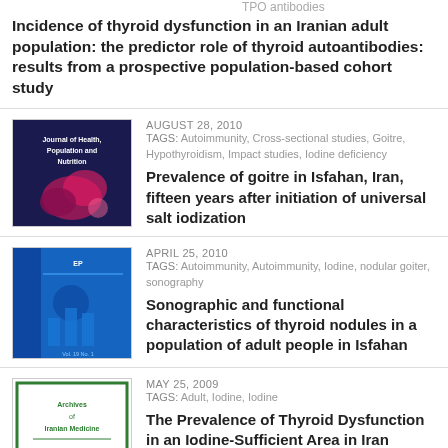TPO antibodies
Incidence of thyroid dysfunction in an Iranian adult population: the predictor role of thyroid autoantibodies: results from a prospective population-based cohort study
[Figure (photo): Journal of Health, Population and Nutrition cover image - dark blue background with pink/magenta design]
AUGUST 28, 2010
TAGS: Autoimmunity, Cross-sectional studies, Goitre, Hypothyroidism, Impact studies, Iodine deficiency
Prevalence of goitre in Isfahan, Iran, fifteen years after initiation of universal salt iodization
[Figure (photo): Epidemiology & Psychiatry journal cover - blue background]
APRIL 25, 2010
TAGS: Autoimmunity, Autoimmunity, Iodine, nodular goiter, sonography
Sonographic and functional characteristics of thyroid nodules in a population of adult people in Isfahan
[Figure (photo): Archives of Iranian Medicine journal cover - white with green border]
MAY 25, 2009
TAGS: Adult, Iodine, Iodine
The Prevalence of Thyroid Dysfunction in an Iodine-Sufficient Area in Iran
[Figure (photo): Another journal cover - blue]
MAY 25, 2009